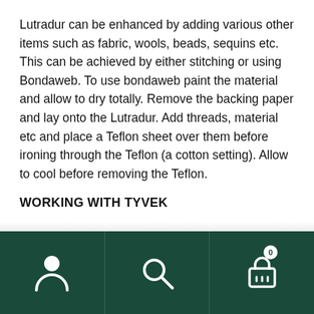Lutradur can be enhanced by adding various other items such as fabric, wools, beads, sequins etc. This can be achieved by either stitching or using Bondaweb. To use bondaweb paint the material and allow to dry totally. Remove the backing paper and lay onto the Lutradur. Add threads, material etc and place a Teflon sheet over them before ironing through the Teflon (a cotton setting). Allow to cool before removing the Teflon.
WORKING WITH TYVEK